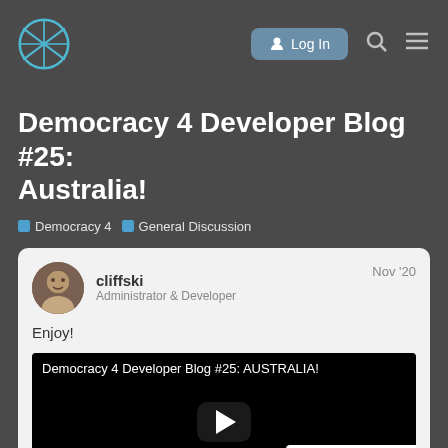Log In
Democracy 4 Developer Blog #25: Australia!
Democracy 4  General Discussion
cliffski
Administrator & Developer
Nov '20
Enjoy!
[Figure (screenshot): Embedded video player showing 'Democracy 4 Developer Blog #25: AUSTRALIA!' with a play button on black background]
1 / 3